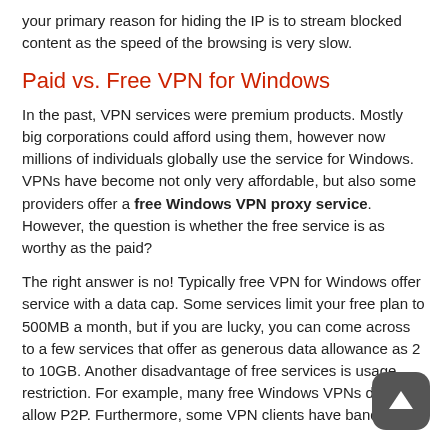your primary reason for hiding the IP is to stream blocked content as the speed of the browsing is very slow.
Paid vs. Free VPN for Windows
In the past, VPN services were premium products. Mostly big corporations could afford using them, however now millions of individuals globally use the service for Windows. VPNs have become not only very affordable, but also some providers offer a free Windows VPN proxy service. However, the question is whether the free service is as worthy as the paid?
The right answer is no! Typically free VPN for Windows offer service with a data cap. Some services limit your free plan to 500MB a month, but if you are lucky, you can come across to a few services that offer as generous data allowance as 2 to 10GB. Another disadvantage of free services is usage restriction. For example, many free Windows VPNs do not allow P2P. Furthermore, some VPN clients have bandwidth